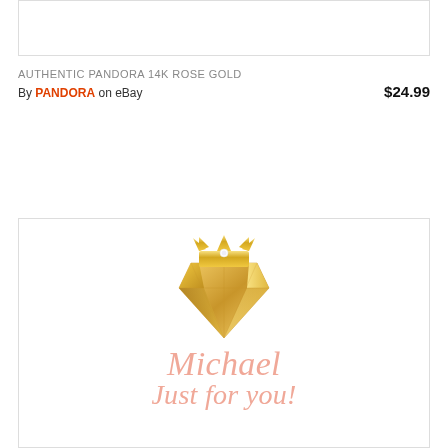[Figure (other): White box with thin border, top image placeholder]
AUTHENTIC PANDORA 14K ROSE GOLD
By PANDORA on eBay   $24.99
[Figure (logo): Gold crown and diamond logo with script text 'Michael Just for you!']